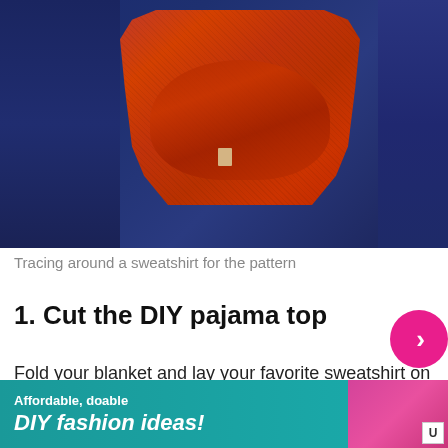[Figure (photo): Photo of a red/orange garment (sweatshirt) laid on top of a dark navy blue fleece blanket, being used as a pattern tracing template. A small label tag is visible on the garment.]
Tracing around a sweatshirt for the pattern
1. Cut the DIY pajama top
Fold your blanket and lay your favorite sweatshirt on top. Cut around the outline of the sweatshirt, so you have front and back pieces.
[Figure (photo): Advertisement banner with teal/cyan background showing sewing-related DIY fashion content. Text reads 'Affordable, doable DIY fashion ideas!' with sewing accessories and pink fabric visible. Has a close button X and U icon.]